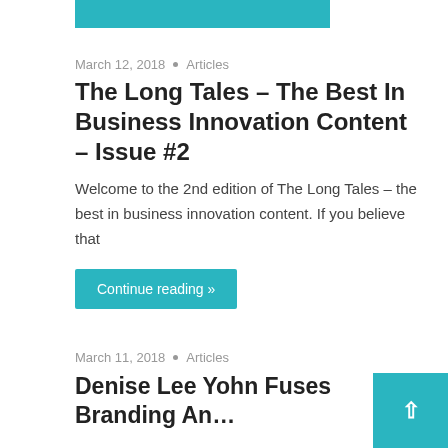March 12, 2018 • Articles
The Long Tales – The Best In Business Innovation Content – Issue #2
Welcome to the 2nd edition of The Long Tales – the best in business innovation content. If you believe that
Continue reading »
March 11, 2018 • Articles
Denise Lee Yohn Fuses Branding An…